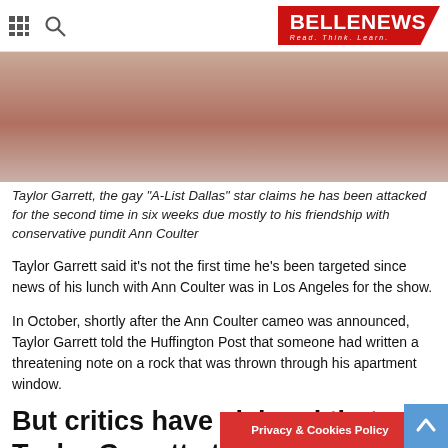BELLENEWS — Read. Think. Learn.
[Figure (photo): Cropped close-up photo of a person, showing skin/neck area — partial view of Taylor Garrett]
Taylor Garrett, the gay "A-List Dallas" star claims he has been attacked for the second time in six weeks due mostly to his friendship with conservative pundit Ann Coulter
Taylor Garrett said it's not the first time he's been targeted since news of his lunch with Ann Coulter was in Los Angeles for the show.
In October, shortly after the Ann Coulter cameo was announced, Taylor Garrett told the Huffington Post that someone had written a threatening note on a rock that was thrown through his apartment window.
But critics have claimed that Taylor Garrett staged the incident in an attempt to collect media attention.